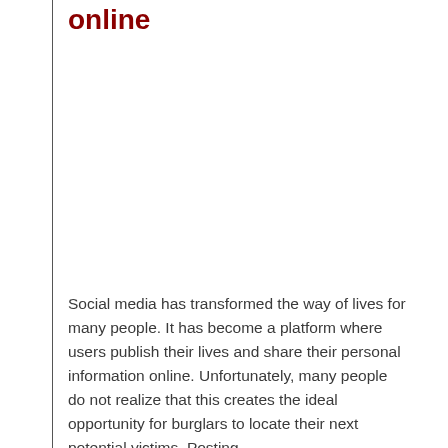online
Social media has transformed the way of lives for many people. It has become a platform where users publish their lives and share their personal information online. Unfortunately, many people do not realize that this creates the ideal opportunity for burglars to locate their next potential victims. Posting